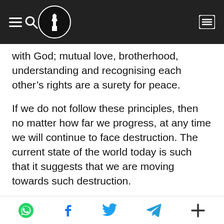[Navigation bar with hamburger menu, search icon, logo, and list icon]
with God; mutual love, brotherhood, understanding and recognising each other’s rights are a surety for peace.
If we do not follow these principles, then no matter how far we progress, at any time we will continue to face destruction. The current state of the world today is such that it suggests that we are moving towards such destruction.
Therefore, we should play a role to the maximum extent possible in saving the world from destruction. In this regard, it is
[Share icons: WhatsApp, Facebook, Twitter, Telegram, More]